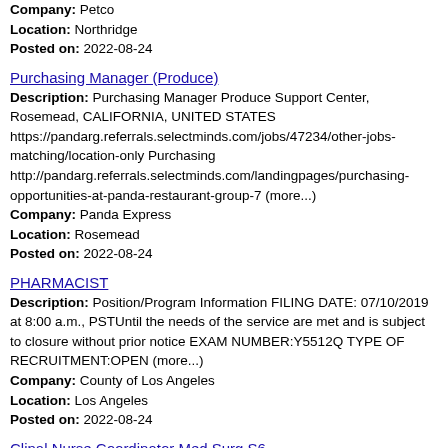Company: Petco
Location: Northridge
Posted on: 2022-08-24
Purchasing Manager (Produce)
Description: Purchasing Manager Produce Support Center, Rosemead, CALIFORNIA, UNITED STATES https://pandarg.referrals.selectminds.com/jobs/47234/other-jobs-matching/location-only Purchasing http://pandarg.referrals.selectminds.com/landingpages/purchasing-opportunities-at-panda-restaurant-group-7 (more...)
Company: Panda Express
Location: Rosemead
Posted on: 2022-08-24
PHARMACIST
Description: Position/Program Information FILING DATE: 07/10/2019 at 8:00 a.m., PSTUntil the needs of the service are met and is subject to closure without prior notice EXAM NUMBER:Y5512Q TYPE OF RECRUITMENT:OPEN (more...)
Company: County of Los Angeles
Location: Los Angeles
Posted on: 2022-08-24
Clinal Nurse Coordinator Med Surg S6
Description: Description SHIFT: Days rotating weekends br SCHEDULE: Full-time br br br Riverside Community Hospital RCH Founded in 1901, Riverside Community Hospital is a 478-